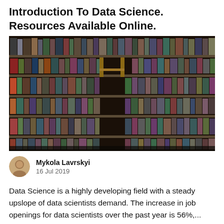Introduction To Data Science. Resources Available Online.
[Figure (photo): A tall bookshelf filled with numerous colorful books, with a wooden library ladder leaning against the shelves in the center.]
Mykola Lavrskyi
16 Jul 2019
Data Science is a highly developing field with a steady upslope of data scientists demand. The increase in job openings for data scientists over the past year is 56%,...